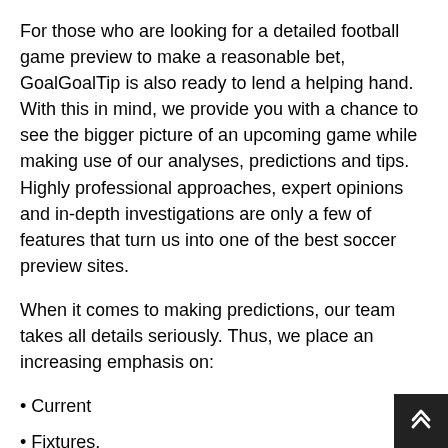For those who are looking for a detailed football game preview to make a reasonable bet, GoalGoalTip is also ready to lend a helping hand. With this in mind, we provide you with a chance to see the bigger picture of an upcoming game while making use of our analyses, predictions and tips. Highly professional approaches, expert opinions and in-depth investigations are only a few of features that turn us into one of the best soccer preview sites.
When it comes to making predictions, our team takes all details seriously. Thus, we place an increasing emphasis on:
• Current
• Fixtures.
• Squad changes.
• Statistics.